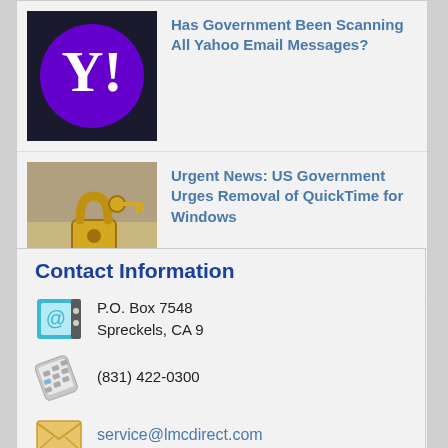[Figure (illustration): News article thumbnail: Yahoo logo (purple circle with white Y!) on black background]
Has Government Been Scanning All Yahoo Email Messages?
[Figure (photo): News article thumbnail: Gold padlock with key on reflective surface]
Urgent News: US Government Urges Removal of QuickTime for Windows
[Figure (photo): News article thumbnail: Smartphone showing Facebook Messenger icon]
Facebook Messenger Unsend Feature Is Now Available
Contact Information
[Figure (illustration): Address book emoji icon (blue book with @ symbol)]
P.O. Box 7548
Spreckels, CA 9
[Figure (illustration): Calculator/remote emoji icon]
(831) 422-0300
[Figure (illustration): Envelope emoji icon (gold/yellow envelope)]
service@lmcdirect.com